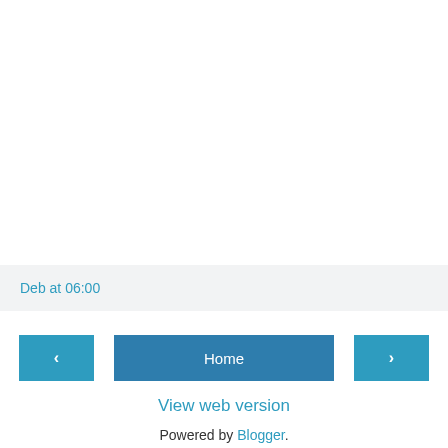Deb at 06:00
< Home >
View web version
Powered by Blogger.